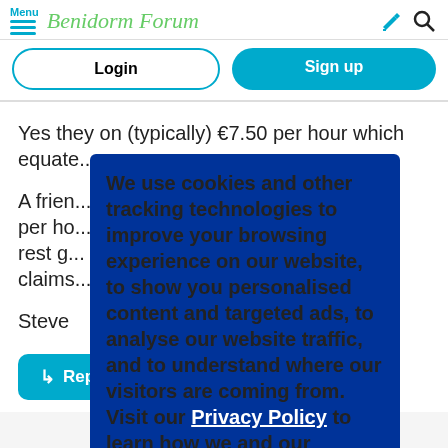Menu | Benidorm Forum
Login
Sign up
Yes they on (typically) €7.50 per hour which equate...
A frien... Benido... 17 per ho... r the rest g... claims...
Steve
We use cookies and other tracking technologies to improve your browsing experience on our website, to show you personalised content and targeted ads, to analyse our website traffic, and to understand where our visitors are coming from. Visit our Privacy Policy to learn how we and our partners collect and use data and how to change your settings.
Agree
Reply